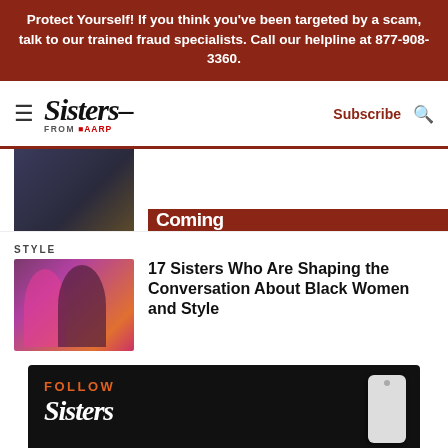Protect Yourself! If you think you've been targeted by a scam, talk to our trained fraud specialists. Call our helpline at 877-908-3360.
[Figure (logo): Sisters from AARP logo with hamburger menu, Subscribe link, and search icon]
Coming
STYLE
17 Sisters Who Are Shaping the Conversation About Black Women and Style
[Figure (photo): Two women posing together, one in pink blazer (Zendaya) and one in floral outfit]
[Figure (infographic): Follow Sisters from AARP widget on dark background with phone illustration]